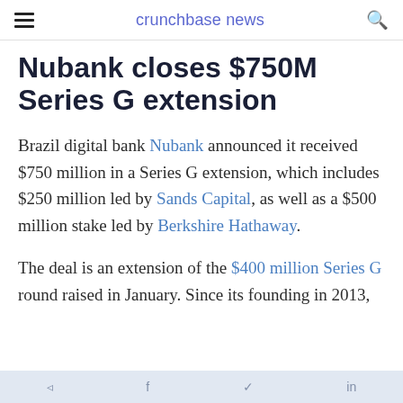crunchbase news
Nubank closes $750M Series G extension
Brazil digital bank Nubank announced it received $750 million in a Series G extension, which includes $250 million led by Sands Capital, as well as a $500 million stake led by Berkshire Hathaway.
The deal is an extension of the $400 million Series G round raised in January. Since its founding in 2013,